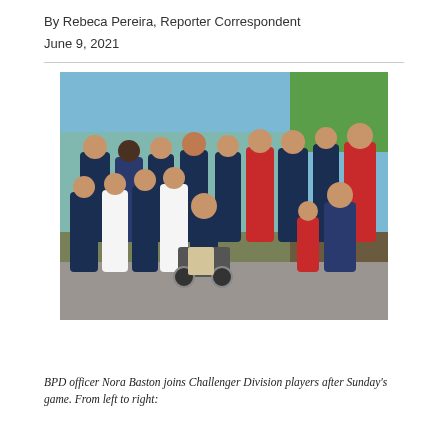By Rebeca Pereira, Reporter Correspondent
June 9, 2021
[Figure (photo): Group photo of baseball team in navy jerseys, some players and coaches posing together outdoors on a paved area near a baseball field. A player in a wheelchair is prominently positioned in the center front.]
BPD officer Nora Baston joins Challenger Division players after Sunday's game. From left to right: